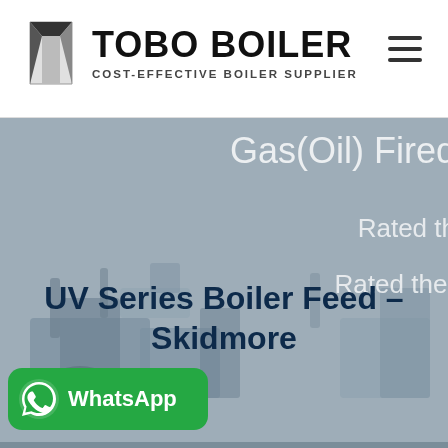TOBO BOILER — COST-EFFECTIVE BOILER SUPPLIER
[Figure (screenshot): Hero banner showing industrial boiler equipment with overlay text 'Gas(Oil) Fired', 'Rated th...', 'Rated ther...' on a grayish-blue tinted background]
UV Series Boiler Feed – Skidmore
[Figure (logo): WhatsApp button with phone icon and text 'WhatsApp' on green background]